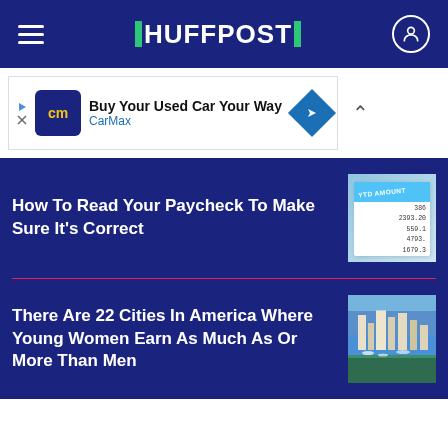HUFFPOST
[Figure (screenshot): CarMax advertisement banner: 'Buy Your Used Car Your Way' with CarMax logo]
How To Read Your Paycheck To Make Sure It's Correct
[Figure (photo): Close-up of a paycheck showing YTD AMOUNT column with numbers 2393.2, 559.1, 4793., 1679.]
There Are 22 Cities In America Where Young Women Earn As Much As Or More Than Men
[Figure (photo): Aerial view of a coastal city with marina and buildings]
[Figure (photo): People at what appears to be an indoor gathering or event, partial view]